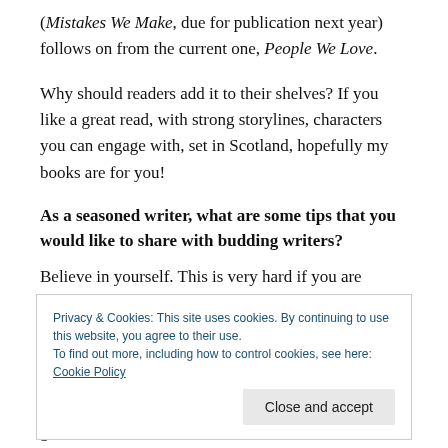( Mistakes We Make, due for publication next year) follows on from the current one, People We Love.
Why should readers add it to their shelves? If you like a great read, with strong storylines, characters you can engage with, set in Scotland, hopefully my books are for you!
As a seasoned writer, what are some tips that you would like to share with budding writers?
Believe in yourself. This is very hard if you are
Privacy & Cookies: This site uses cookies. By continuing to use this website, you agree to their use.
To find out more, including how to control cookies, see here: Cookie Policy
get